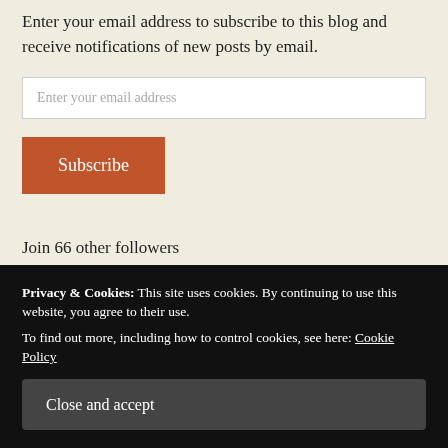Enter your email address to subscribe to this blog and receive notifications of new posts by email.
Enter your email address
Subscribe
Join 66 other followers
Search
Privacy & Cookies: This site uses cookies. By continuing to use this website, you agree to their use.
To find out more, including how to control cookies, see here: Cookie Policy
Close and accept